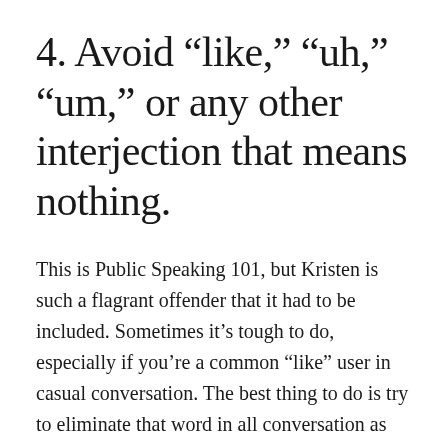4. Avoid “like,” “uh,” “um,” or any other interjection that means nothing.
This is Public Speaking 101, but Kristen is such a flagrant offender that it had to be included. Sometimes it’s tough to do, especially if you’re a common “like” user in casual conversation. The best thing to do is try to eliminate that word in all conversation as much as possible, which will make it much easier to avoid in speeches and the like. If you need to speak a little more slowly than usual to avoid these place fillers, then do so.